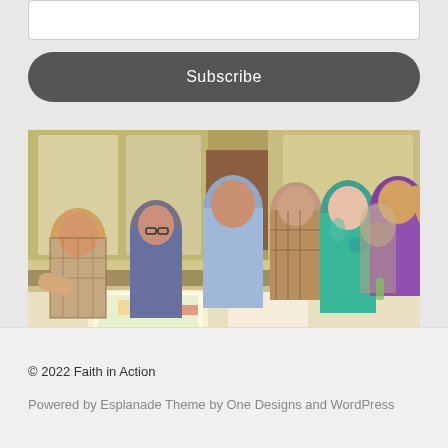Subscribe
[Figure (photo): Group of people standing around a table looking at papers/maps in a meeting room. Several men and women reviewing documents together.]
© 2022 Faith in Action
Powered by Esplanade Theme by One Designs and WordPress